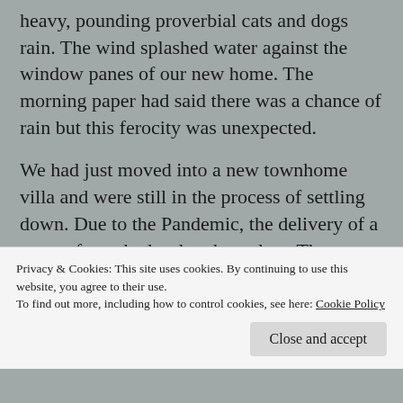heavy, pounding proverbial cats and dogs rain. The wind splashed water against the window panes of our new home. The morning paper had said there was a chance of rain but this ferocity was unexpected.
We had just moved into a new townhome villa and were still in the process of settling down. Due to the Pandemic, the delivery of a new sofa we had ordered was late. There were only chairs on the first floor, not a comfortable arrangement for after-dinner TV watching or reading a book.
Privacy & Cookies: This site uses cookies. By continuing to use this website, you agree to their use.
To find out more, including how to control cookies, see here: Cookie Policy
Close and accept